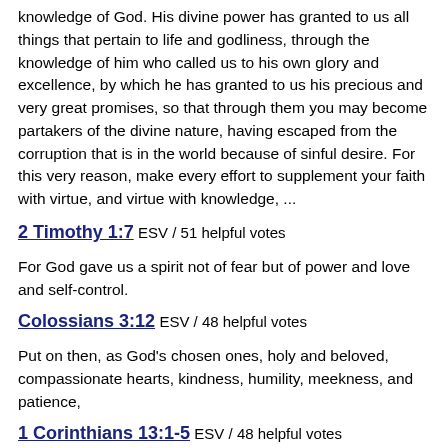knowledge of God. His divine power has granted to us all things that pertain to life and godliness, through the knowledge of him who called us to his own glory and excellence, by which he has granted to us his precious and very great promises, so that through them you may become partakers of the divine nature, having escaped from the corruption that is in the world because of sinful desire. For this very reason, make every effort to supplement your faith with virtue, and virtue with knowledge, ...
2 Timothy 1:7  ESV / 51 helpful votes
For God gave us a spirit not of fear but of power and love and self-control.
Colossians 3:12  ESV / 48 helpful votes
Put on then, as God's chosen ones, holy and beloved, compassionate hearts, kindness, humility, meekness, and patience,
1 Corinthians 13:1-5  ESV / 48 helpful votes